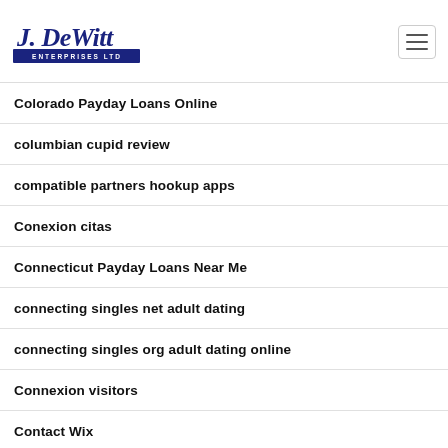[Figure (logo): J. DeWitt Enterprises Ltd logo — cursive blue text 'J. DeWitt' above a dark navy banner with 'ENTERPRISES LTD' in white block letters]
Colorado Payday Loans Online
columbian cupid review
compatible partners hookup apps
Conexion citas
Connecticut Payday Loans Near Me
connecting singles net adult dating
connecting singles org adult dating online
Connexion visitors
Contact Wix